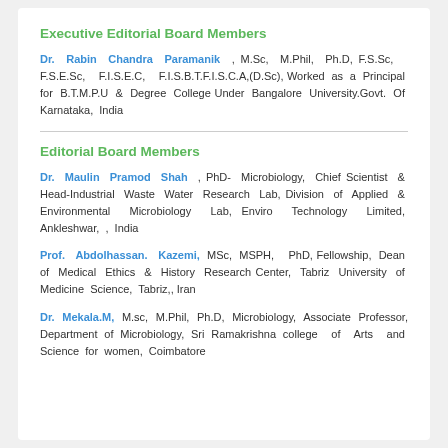Executive Editorial Board Members
Dr. Rabin Chandra Paramanik , M.Sc, M.Phil, Ph.D, F.S.Sc, F.S.E.Sc, F.I.S.E.C, F.I.S.B.T.F.I.S.C.A,(D.Sc), Worked as a Principal for B.T.M.P.U & Degree College Under Bangalore University.Govt. Of Karnataka, India
Editorial Board Members
Dr. Maulin Pramod Shah , PhD- Microbiology, Chief Scientist & Head-Industrial Waste Water Research Lab, Division of Applied & Environmental Microbiology Lab, Enviro Technology Limited, Ankleshwar, , India
Prof. Abdolhassan. Kazemi, MSc, MSPH, PhD, Fellowship, Dean of Medical Ethics & History Research Center, Tabriz University of Medicine Science, Tabriz,, Iran
Dr. Mekala.M, M.sc, M.Phil, Ph.D, Microbiology, Associate Professor, Department of Microbiology, Sri Ramakrishna college of Arts and Science for women, Coimbatore